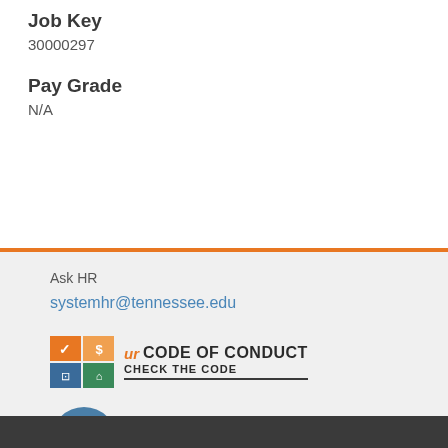Job Key
30000297
Pay Grade
N/A
Ask HR
systemhr@tennessee.edu
[Figure (logo): UT Code of Conduct - Check the Code logo with orange and blue/green grid squares and UT branding]
[Figure (logo): UT Compliance Hotline logo with circular icon containing symbols and orange/blue UT branding]